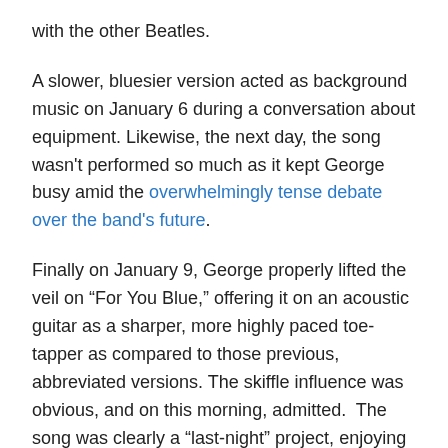with the other Beatles.
A slower, bluesier version acted as background music on January 6 during a conversation about equipment. Likewise, the next day, the song wasn't performed so much as it kept George busy amid the overwhelmingly tense debate over the band's future.
Finally on January 9, George properly lifted the veil on “For You Blue,” offering it on an acoustic guitar as a sharper, more highly paced toe-tapper as compared to those previous, abbreviated versions. The skiffle influence was obvious, and on this morning, admitted.  The song was clearly a “last-night” project, enjoying a clear evolution heading into the 9th.
The guts of the version that would be recorded a few